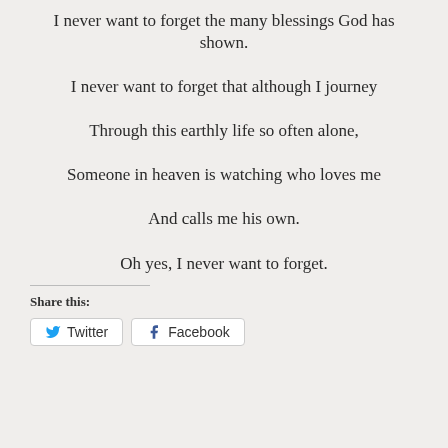I never want to forget the many blessings God has shown.

I never want to forget that although I journey

Through this earthly life so often alone,

Someone in heaven is watching who loves me

And calls me his own.

Oh yes, I never want to forget.
Share this:
Twitter  Facebook